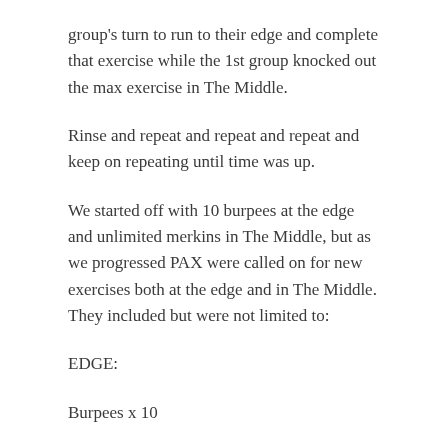group's turn to run to their edge and complete that exercise while the 1st group knocked out the max exercise in The Middle.
Rinse and repeat and repeat and repeat and keep on repeating until time was up.
We started off with 10 burpees at the edge and unlimited merkins in The Middle, but as we progressed PAX were called on for new exercises both at the edge and in The Middle. They included but were not limited to:
EDGE:
Burpees x 10